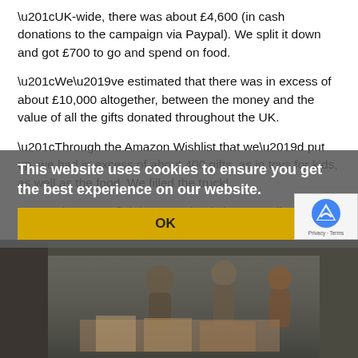“UK-wide, there was about £4,600 (in cash donations to the campaign via Paypal). We split it down and got £700 to go and spend on food.
“We’ve estimated that there was in excess of about £10,000 altogether, between the money and the value of all the gifts donated throughout the UK.
“Through the Amazon Wishlist that we’d put up, we had in excess of about 400 gifts, as in toys for kids, as well as the food. We filled the truck!
“They were fighting tears back; it was really something to see, it made it worthwhile. What they said to us is that, with the stuff that they’ve got, they reckon they can continue right into January with it, so that’s good news. It’s going to change lives.”
This website uses cookies to ensure you get the best experience on our website. OK
[Figure (photo): Photo of people standing in what appears to be a warehouse or storage area with donated goods, partially obscured by cookie consent overlay]